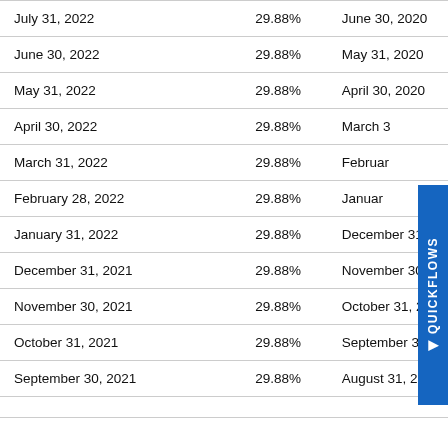| Date | Rate | Date (right) |
| --- | --- | --- |
| July 31, 2022 | 29.88% | June 30, 2020 |
| June 30, 2022 | 29.88% | May 31, 2020 |
| May 31, 2022 | 29.88% | April 30, 2020 |
| April 30, 2022 | 29.88% | March 3… |
| March 31, 2022 | 29.88% | February… |
| February 28, 2022 | 29.88% | January… |
| January 31, 2022 | 29.88% | December 31, 2… |
| December 31, 2021 | 29.88% | November 30, 2… |
| November 30, 2021 | 29.88% | October 31, 201… |
| October 31, 2021 | 29.88% | September 30, … |
| September 30, 2021 | 29.88% | August 31, 2019… |